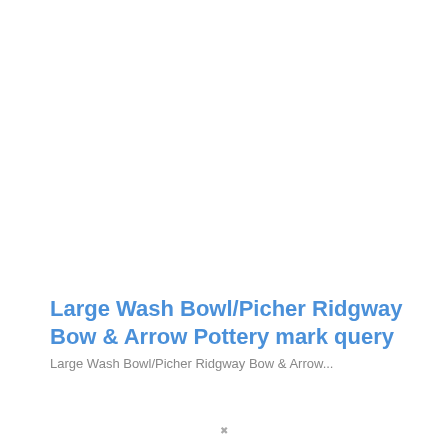Large Wash Bowl/Picher Ridgway Bow & Arrow Pottery mark query
Large Wash Bowl/Picher Ridgway Bow & Arrow...